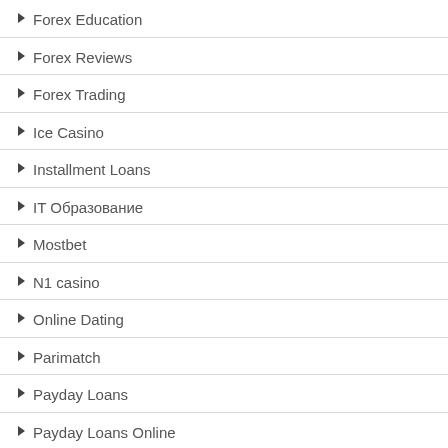Forex Education
Forex Reviews
Forex Trading
Ice Casino
Installment Loans
IT Образование
Mostbet
N1 casino
Online Dating
Parimatch
Payday Loans
Payday Loans Online
Power Casino
qwrqrty